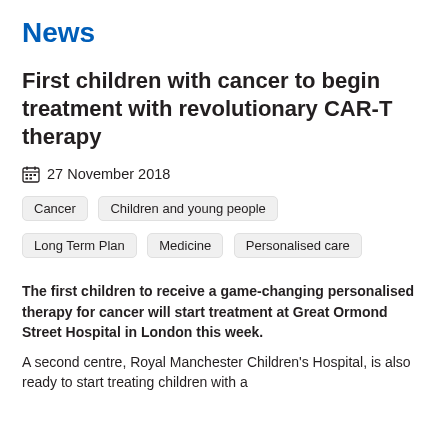News
First children with cancer to begin treatment with revolutionary CAR-T therapy
27 November 2018
Cancer
Children and young people
Long Term Plan
Medicine
Personalised care
The first children to receive a game-changing personalised therapy for cancer will start treatment at Great Ormond Street Hospital in London this week.
A second centre, Royal Manchester Children's Hospital, is also ready to start treating children with a